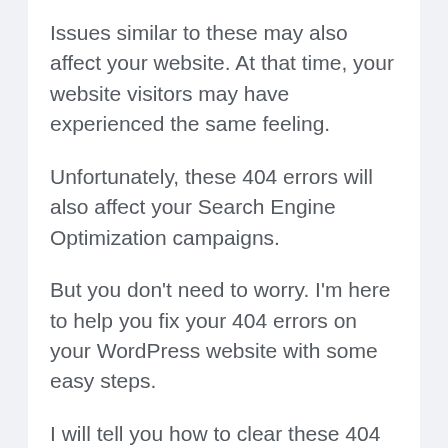Issues similar to these may also affect your website. At that time, your website visitors may have experienced the same feeling.
Unfortunately, these 404 errors will also affect your Search Engine Optimization campaigns.
But you don't need to worry. I'm here to help you fix your 404 errors on your WordPress website with some easy steps.
I will tell you how to clear these 404 errors on your WordPress website quickly.
Before that, first, let's try to understand these 404 errors and how they appear